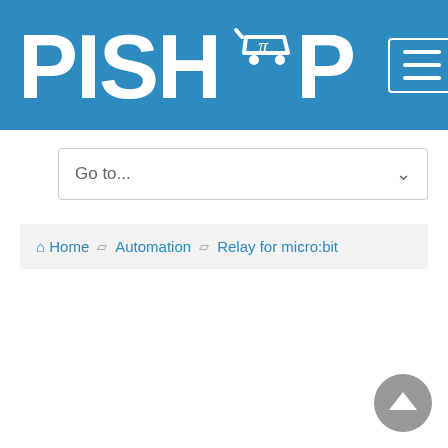[Figure (logo): PiShop logo with shopping cart and pi symbol on blue background, with hamburger menu button]
Go to...
Home  Automation  Relay for micro:bit